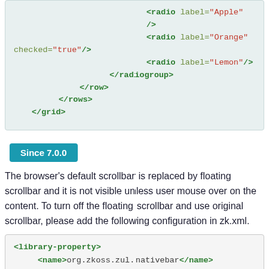<radio label="Apple" />
<radio label="Orange" checked="true"/>
<radio label="Lemon"/>
</radiogroup>
</row>
</rows>
</grid>
Since 7.0.0
The browser's default scrollbar is replaced by floating scrollbar and it is not visible unless user mouse over on the content. To turn off the floating scrollbar and use original scrollbar, please add the following configuration in zk.xml.
<library-property>
<name>org.zkoss.zul.nativebar</name>
<value>true</value>
</library-property>